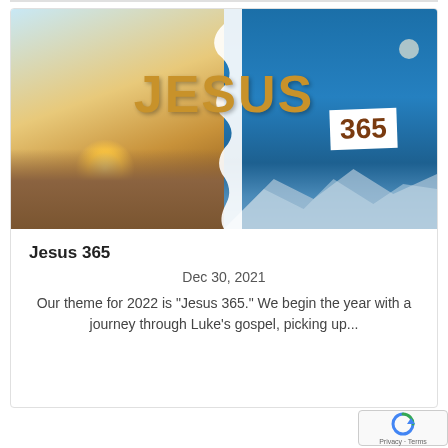[Figure (illustration): Jesus 365 promotional image split in two halves: left half shows a desert landscape with warm sandy tones and a sun glow, right half shows a blue-toned snowy mountain scene. Large bold gold text 'JESUS' spans across both halves, with a white badge showing '365' on the right side. A moon is visible on the upper right.]
Jesus 365
Dec 30, 2021
Our theme for 2022 is "Jesus 365." We begin the year with a journey through Luke's gospel, picking up...